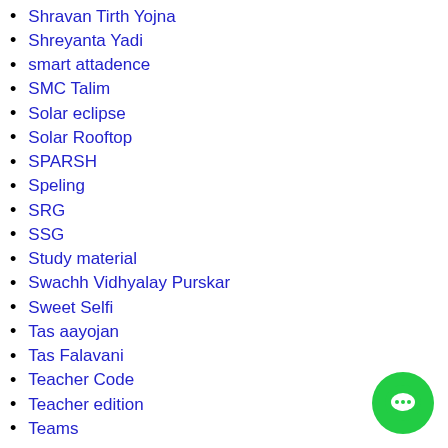Shravan Tirth Yojna
Shreyanta Yadi
smart attadence
SMC Talim
Solar eclipse
Solar Rooftop
SPARSH
Speling
SRG
SSG
Study material
Swachh Vidhyalay Purskar
Sweet Selfi
Tas aayojan
Tas Falavani
Teacher Code
Teacher edition
Teams
[Figure (illustration): Green circular chat/messaging button with three dots icon, positioned bottom-right]